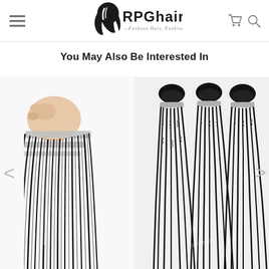[Figure (screenshot): RPGhair website header with hamburger menu, RPGhair logo with tagline 'Fashion Hair, Fashion Life', and cart/search icons]
You May Also Be Interested In
[Figure (photo): Left product photo: hand holding straight black hair bundles with silver wefts]
[Figure (photo): Right product photo: three kinky straight black hair bundles with silver wefts, RPGhair watermark visible]